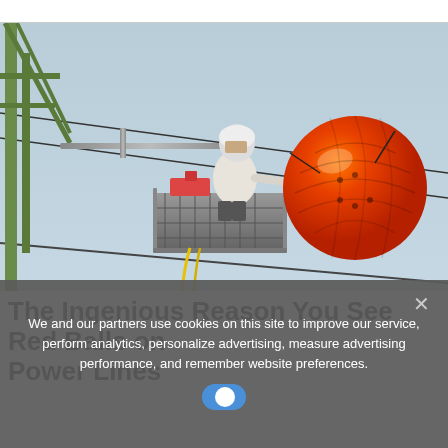[Figure (photo): A worker in a white protective suit and helmet, standing in a lift bucket on a power line tower, installing or adjusting a large orange/red spherical marker ball on high-voltage power lines, against a light blue sky.]
The Ingenious Reason You See Red Balls on Power Lines
We and our partners use cookies on this site to improve our service, perform analytics, personalize advertising, measure advertising performance, and remember website preferences.